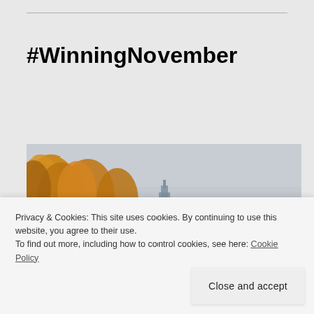#WinningNovember
[Figure (photo): Autumn street scene with golden/orange leaved trees lining a path, city skyscrapers visible in the background, overcast sky, reddish-brown ornamental grasses on the right side]
Privacy & Cookies: This site uses cookies. By continuing to use this website, you agree to their use.
To find out more, including how to control cookies, see here: Cookie Policy
Close and accept